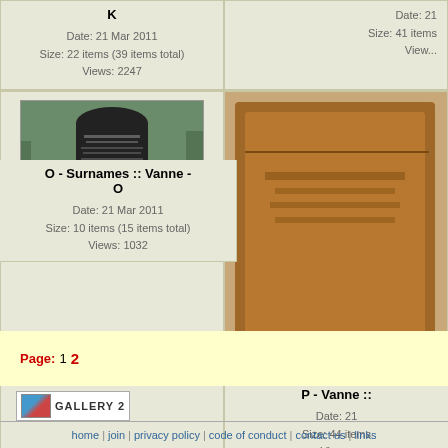K
Date: 21 Mar 2011
Size: 22 items (39 items total)
Views: 2247
Date: 21 Mar 2011
Size: 41 items
Views: (truncated)
[Figure (photo): Gravestone/tombstone photo - dark stone with inscription in green grass setting]
O - Surnames :: Vanne - O
Date: 21 Mar 2011
Size: 10 items (15 items total)
Views: 1032
[Figure (photo): Brown ornate memorial or book cover visible on right side]
P - Vanne ::
Date: 21
Size: 44 items
Views: (truncated)
Page: 1 2
[Figure (logo): Gallery 2 software badge/logo]
home | join | privacy policy | code of conduct | contact us | links